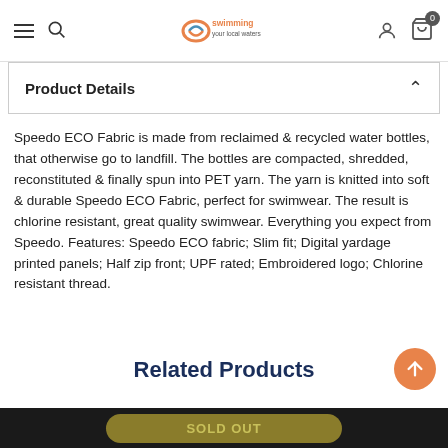Swimming [logo] | navigation icons
Product Details
Speedo ECO Fabric is made from reclaimed & recycled water bottles, that otherwise go to landfill. The bottles are compacted, shredded, reconstituted & finally spun into PET yarn. The yarn is knitted into soft & durable Speedo ECO Fabric, perfect for swimwear. The result is chlorine resistant, great quality swimwear. Everything you expect from Speedo. Features: Speedo ECO fabric; Slim fit; Digital yardage printed panels; Half zip front; UPF rated; Embroidered logo; Chlorine resistant thread.
Related Products
SOLD OUT